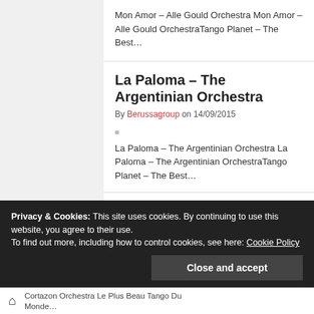Mon Amor – Alle Gould Orchestra Mon Amor – Alle Gould OrchestraTango Planet – The Best…
La Paloma – The Argentinian Orchestra
By Berussagroup on 14/09/2015
La Paloma – The Argentinian Orchestra La Paloma – The Argentinian OrchestraTango Planet – The Best…
Le Plus Beau Tango Du Monde – Julio
Privacy & Cookies: This site uses cookies. By continuing to use this website, you agree to their use. To find out more, including how to control cookies, see here: Cookie Policy
Close and accept
Cortazon Orchestra Le Plus Beau Tango Du Monde…